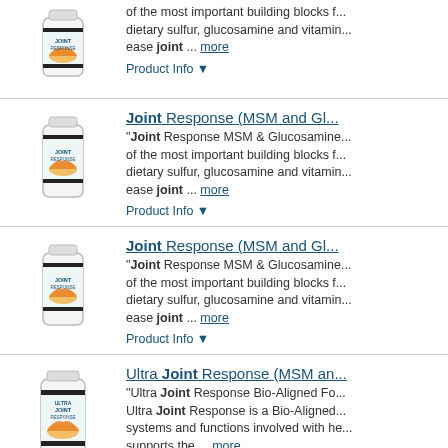[Figure (photo): Supplement bottle labeled Joint Response (partially visible, top of page)]
of the most important building blocks f... dietary sulfur, glucosamine and vitamin... ease joint ... more
Product Info ▼
Joint Response (MSM and Gl...
[Figure (photo): Supplement bottle labeled Joint Response]
"Joint Response MSM & Glucosamine... of the most important building blocks f... dietary sulfur, glucosamine and vitamin... ease joint ... more
Product Info ▼
Joint Response (MSM and Gl...
[Figure (photo): Supplement bottle labeled Joint Response]
"Joint Response MSM & Glucosamine... of the most important building blocks f... dietary sulfur, glucosamine and vitamin... ease joint ... more
Product Info ▼
Ultra Joint Response (MSM an...
[Figure (photo): Supplement bottle labeled Ultra Joint Response]
"Ultra Joint Response Bio-Aligned Fo... Ultra Joint Response is a Bio-Aligned... systems and functions involved with he... supports the ... more
Product Info ▼
GlucosaMend Glucosamine Jo...
[Figure (photo): Supplement bottle labeled GlucosaMend]
GlucosaMend Bio-Aligned Formula Gl...